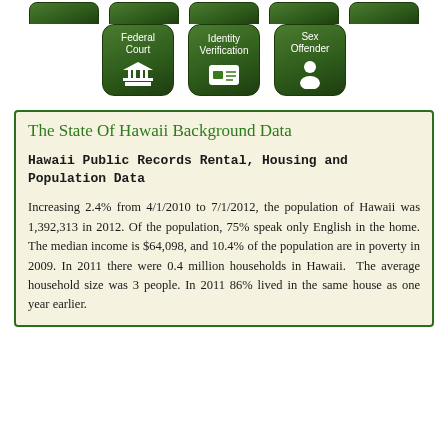[Figure (screenshot): Partial view of green rounded icon buttons at top of page (cropped)]
[Figure (screenshot): Three green rounded icon buttons: Federal Court (with building icon), Identity Verification (with ID card icon), Sex Offender (with person icon)]
The State Of Hawaii Background Data
Hawaii Public Records Rental, Housing and Population Data
Increasing 2.4% from 4/1/2010 to 7/1/2012, the population of Hawaii was 1,392,313 in 2012. Of the population, 75% speak only English in the home. The median income is $64,098, and 10.4% of the population are in poverty in 2009. In 2011 there were 0.4 million households in Hawaii. The average household size was 3 people. In 2011 86% lived in the same house as one year earlier.